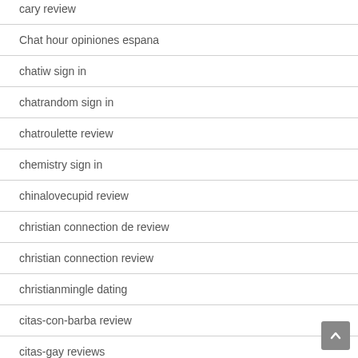cary review
Chat hour opiniones espana
chatiw sign in
chatrandom sign in
chatroulette review
chemistry sign in
chinalovecupid review
christian connection de review
christian connection review
christianmingle dating
citas-con-barba review
citas-gay reviews
citas-luteranas review